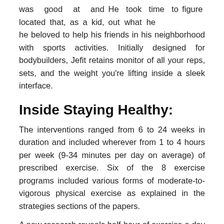He took time to figure out what he was good at and located that, as a kid, he beloved to help his friends in his neighborhood with sports activities. Initially designed for bodybuilders, Jefit retains monitor of all your reps, sets, and the weight you're lifting inside a sleek interface.
Inside Staying Healthy:
The interventions ranged from 6 to 24 weeks in duration and included wherever from 1 to 4 hours per week (9-34 minutes per day on average) of prescribed exercise. Six of the 8 exercise programs included various forms of moderate-to-vigorous physical exercise as explained in the strategies sections of the papers.
A new research reveals half-hour of exercise a day works simply in addition to an hour in serving to obese adults